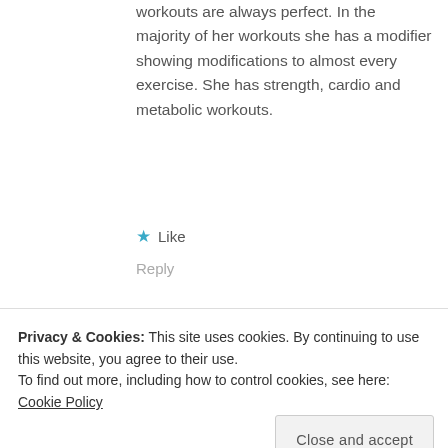workouts are always perfect. In the majority of her workouts she has a modifier showing modifications to almost every exercise. She has strength, cardio and metabolic workouts.
★ Like
Reply
Nancy says:
Privacy & Cookies: This site uses cookies. By continuing to use this website, you agree to their use.
To find out more, including how to control cookies, see here: Cookie Policy
Close and accept